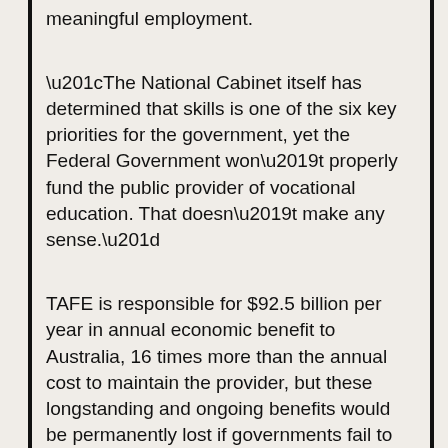meaningful employment.
“The National Cabinet itself has determined that skills is one of the six key priorities for the government, yet the Federal Government won’t properly fund the public provider of vocational education. That doesn’t make any sense.”
TAFE is responsible for $92.5 billion per year in annual economic benefit to Australia, 16 times more than the annual cost to maintain the provider, but these longstanding and ongoing benefits would be permanently lost if governments fail to rebuild with TAFE.